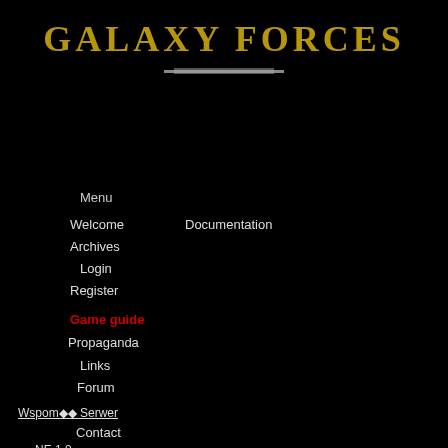GALAXY FORCES
Menu
Welcome
Documentation
Archives
Login
Register
Game guide
Propaganda
Links
Forum
Wspom◆◆ Serwer
Contact
NE 1.0